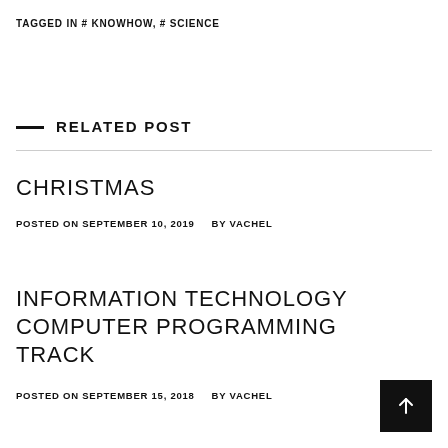TAGGED IN # KNOWHOW, # SCIENCE
RELATED POST
CHRISTMAS
POSTED ON SEPTEMBER 10, 2019   BY VACHEL
INFORMATION TECHNOLOGY COMPUTER PROGRAMMING TRACK
POSTED ON SEPTEMBER 15, 2018   BY VACHEL